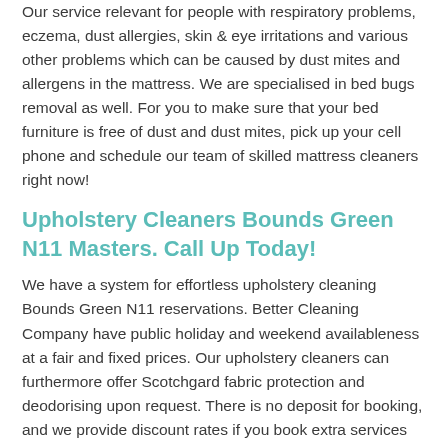Our service relevant for people with respiratory problems, eczema, dust allergies, skin & eye irritations and various other problems which can be caused by dust mites and allergens in the mattress. We are specialised in bed bugs removal as well. For you to make sure that your bed furniture is free of dust and dust mites, pick up your cell phone and schedule our team of skilled mattress cleaners right now!
Upholstery Cleaners Bounds Green N11 Masters. Call Up Today!
We have a system for effortless upholstery cleaning Bounds Green N11 reservations. Better Cleaning Company have public holiday and weekend availableness at a fair and fixed prices. Our upholstery cleaners can furthermore offer Scotchgard fabric protection and deodorising upon request. There is no deposit for booking, and we provide discount rates if you book extra services along with our upholstery cleaning. Contact us now via cell phone 020 3746 3201 or send us a web request. Same day booking is possible, if you want an emergency